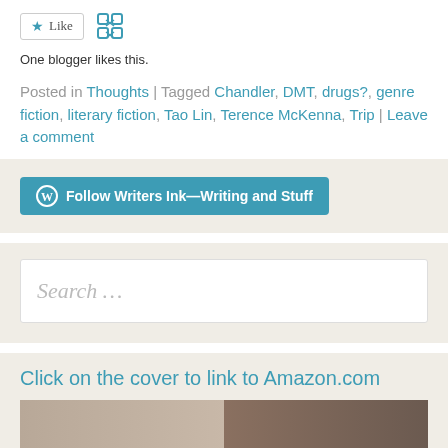[Figure (other): Like button with star icon and a decorative grid icon next to it]
One blogger likes this.
Posted in Thoughts | Tagged Chandler, DMT, drugs?, genre fiction, literary fiction, Tao Lin, Terence McKenna, Trip | Leave a comment
[Figure (other): WordPress Follow button: Follow Writers Ink—Writing and Stuff]
[Figure (other): Search input box with placeholder text 'Search ...']
Click on the cover to link to Amazon.com
[Figure (photo): Book cover image showing a close-up of a person's face]